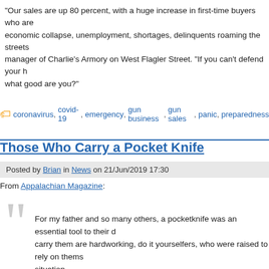“Our sales are up 80 percent, with a huge increase in first-time buyers who are economic collapse, unemployment, shortages, delinquents roaming the streets manager of Charlie’s Armory on West Flagler Street. “If you can’t defend your h what good are you?”
coronavirus, covid-19, emergency, gun business, gun sales, panic, preparedness
Those Who Carry a Pocket Knife
Posted by Brian in News on 21/Jun/2019 17:30
From Appalachian Magazine:
For my father and so many others, a pocketknife was an essential tool to their c carry them are hardworking, do it yourselfers, who were raised to rely on thems situation.
The history of the pocketknife is quite telling, with its widespread usage dating b they were known as peasant knives and were used by the poorer working class